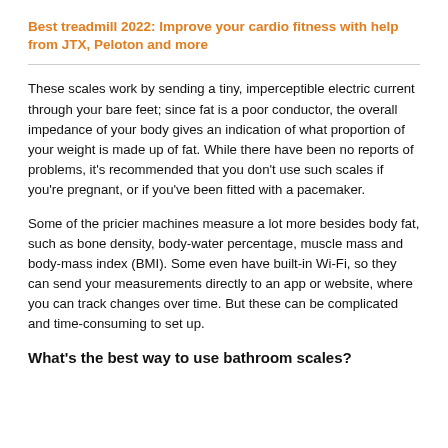Best treadmill 2022: Improve your cardio fitness with help from JTX, Peloton and more
These scales work by sending a tiny, imperceptible electric current through your bare feet; since fat is a poor conductor, the overall impedance of your body gives an indication of what proportion of your weight is made up of fat. While there have been no reports of problems, it’s recommended that you don’t use such scales if you’re pregnant, or if you’ve been fitted with a pacemaker.
Some of the pricier machines measure a lot more besides body fat, such as bone density, body-water percentage, muscle mass and body-mass index (BMI). Some even have built-in Wi-Fi, so they can send your measurements directly to an app or website, where you can track changes over time. But these can be complicated and time-consuming to set up.
What’s the best way to use bathroom scales?